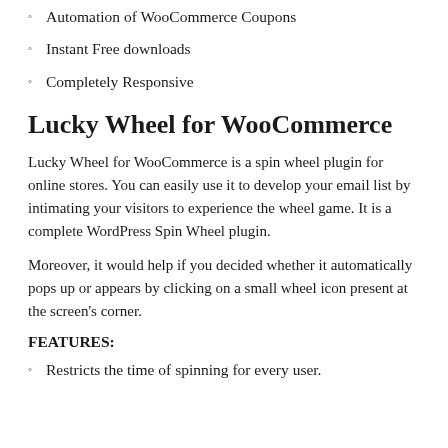Automation of WooCommerce Coupons
Instant Free downloads
Completely Responsive
Lucky Wheel for WooCommerce
Lucky Wheel for WooCommerce is a spin wheel plugin for online stores. You can easily use it to develop your email list by intimating your visitors to experience the wheel game. It is a complete WordPress Spin Wheel plugin.
Moreover, it would help if you decided whether it automatically pops up or appears by clicking on a small wheel icon present at the screen's corner.
FEATURES:
Restricts the time of spinning for every user.